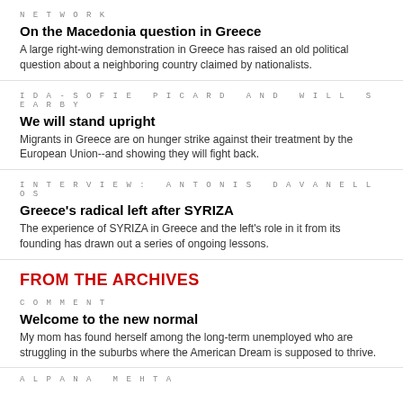NETWORK
On the Macedonia question in Greece
A large right-wing demonstration in Greece has raised an old political question about a neighboring country claimed by nationalists.
IDA-SOFIE PICARD AND WILL SEARBY
We will stand upright
Migrants in Greece are on hunger strike against their treatment by the European Union--and showing they will fight back.
INTERVIEW: ANTONIS DAVANELLOS
Greece's radical left after SYRIZA
The experience of SYRIZA in Greece and the left's role in it from its founding has drawn out a series of ongoing lessons.
FROM THE ARCHIVES
COMMENT
Welcome to the new normal
My mom has found herself among the long-term unemployed who are struggling in the suburbs where the American Dream is supposed to thrive.
ALPANA MEHTA